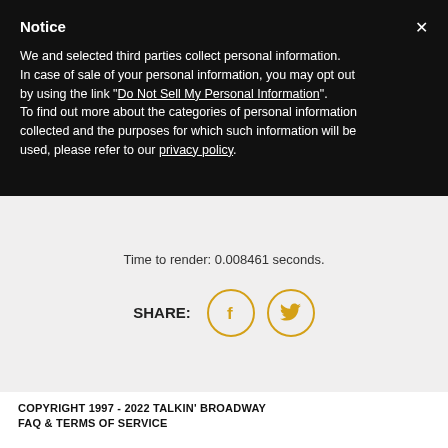Notice
We and selected third parties collect personal information. In case of sale of your personal information, you may opt out by using the link "Do Not Sell My Personal Information". To find out more about the categories of personal information collected and the purposes for which such information will be used, please refer to our privacy policy.
Time to render: 0.008461 seconds.
[Figure (infographic): SHARE label with Facebook and Twitter social media icon buttons in golden/yellow circle outlines]
COPYRIGHT 1997 - 2022 TALKIN' BROADWAY
FAQ & TERMS OF SERVICE